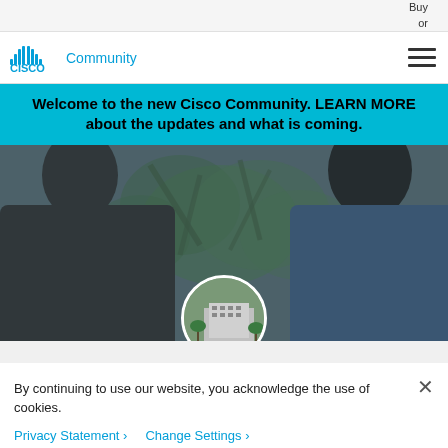Buy
or
[Figure (logo): Cisco Community logo with antenna bars icon and blue text reading 'CISCO Community']
Welcome to the new Cisco Community. LEARN MORE about the updates and what is coming.
[Figure (photo): Hero image showing two people (a woman on the left and a man on the right) with green foliage background, partially obscured. A circular inset photo of a hotel or conference building is centered at the bottom.]
By continuing to use our website, you acknowledge the use of cookies.
Privacy Statement > Change Settings >